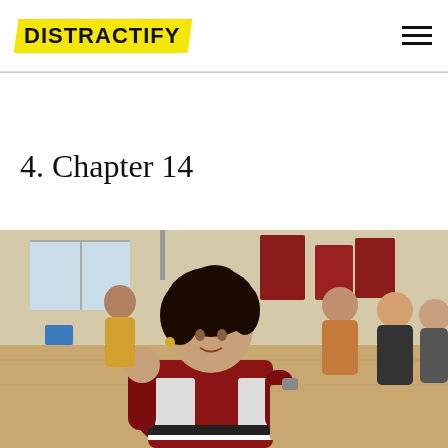DISTRACTIFY
4. Chapter 14
[Figure (photo): A young woman in a red and white varsity jacket holding a clipboard, standing in a school gymnasium with several other students in the background. Red banners visible on the walls.]